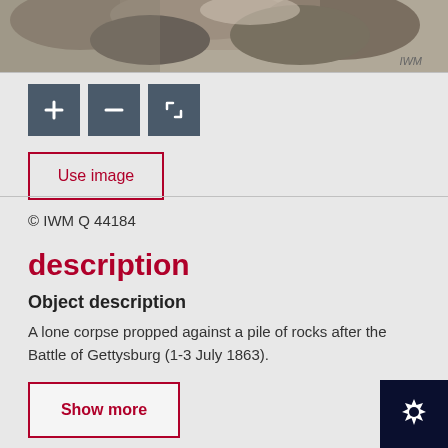[Figure (photo): Partial view of a historic black and white photograph, cropped at the top. Shows rocky terrain. Watermark 'IWM' visible at bottom right of image.]
[Figure (other): Three dark teal/grey toolbar buttons: a plus (+) zoom in button, a minus (-) zoom out button, and a crop/expand frame button.]
Use image
© IWM Q 44184
description
Object description
A lone corpse propped against a pile of rocks after the Battle of Gettysburg (1-3 July 1863).
Show more